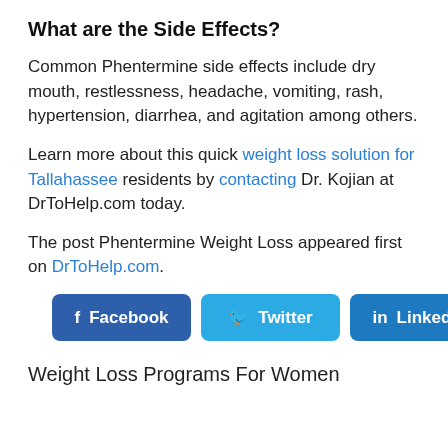What are the Side Effects?
Common Phentermine side effects include dry mouth, restlessness, headache, vomiting, rash, hypertension, diarrhea, and agitation among others.
Learn more about this quick weight loss solution for Tallahassee residents by contacting Dr. Kojian at DrToHelp.com today.
The post Phentermine Weight Loss appeared first on DrToHelp.com.
[Figure (other): Social share buttons for Facebook, Twitter, and LinkedIn]
Weight Loss Programs For Women